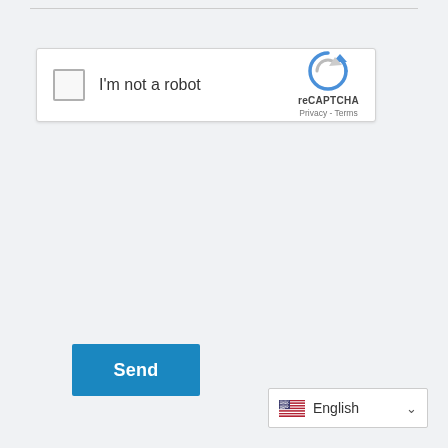[Figure (screenshot): reCAPTCHA widget with checkbox labeled 'I'm not a robot', reCAPTCHA logo, Privacy and Terms links]
Send
English